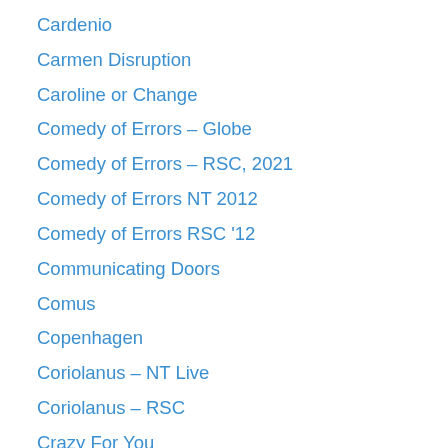Cardenio
Carmen Disruption
Caroline or Change
Comedy of Errors – Globe
Comedy of Errors – RSC, 2021
Comedy of Errors NT 2012
Comedy of Errors RSC '12
Communicating Doors
Comus
Copenhagen
Coriolanus – NT Live
Coriolanus – RSC
Crazy For You
Curiosity Shop
Cymbeline – RSC
Cymbeline – Wanamaker
Dancing At Lughnasa
Death Of A Salesman
Deathtrap
Dedication